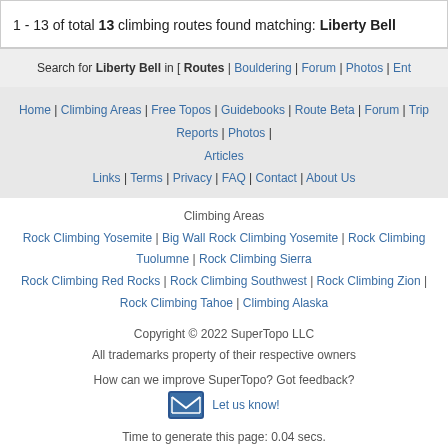1 - 13 of total 13 climbing routes found matching: Liberty Bell
Search for Liberty Bell in [ Routes | Bouldering | Forum | Photos | Ent...
Home | Climbing Areas | Free Topos | Guidebooks | Route Beta | Forum | Trip Reports | Photos | Articles | Links | Terms | Privacy | FAQ | Contact | About Us
Climbing Areas
Rock Climbing Yosemite | Big Wall Rock Climbing Yosemite | Rock Climbing Tuolumne | Rock Climbing Sierra
Rock Climbing Red Rocks | Rock Climbing Southwest | Rock Climbing Zion | Rock Climbing Tahoe | Climbing Alaska
Copyright © 2022 SuperTopo LLC
All trademarks property of their respective owners
How can we improve SuperTopo? Got feedback?
Let us know!
Time to generate this page: 0.04 secs.
Climbing is dangerous. Climb at your own risk.